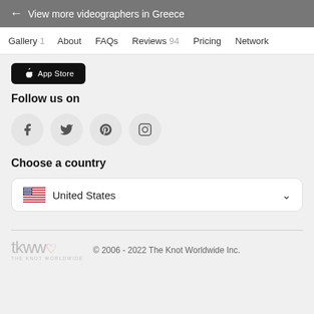← View more videographers in Greece
Gallery 1  About  FAQs  Reviews 94  Pricing  Network
[Figure (screenshot): App Store button (black rounded rectangle with Apple App Store logo and text)]
Follow us on
[Figure (infographic): Social media icons: Facebook, Twitter, Pinterest, Instagram — each in a light gray circle]
Choose a country
[Figure (infographic): Country selector dropdown showing United States with US flag icon and chevron]
tkww THE KNOT WORLDWIDE  © 2006 - 2022 The Knot Worldwide Inc.